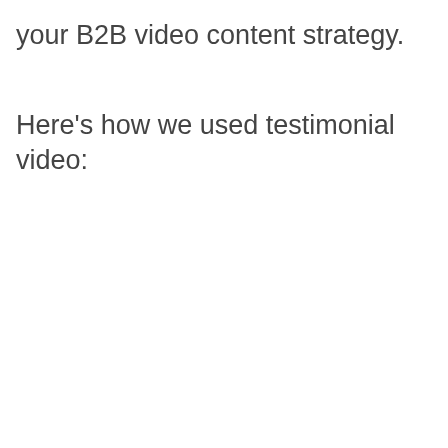your B2B video content strategy.
Here's how we used testimonial video: